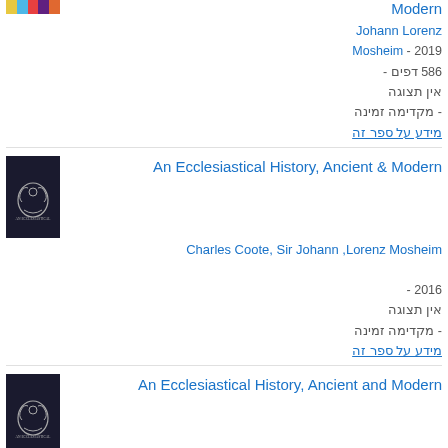Modern
Johann Lorenz
2019 - Mosheim
586 דפים -
אין תצוגה
- מקדימה זמינה
מידע על ספר זה
An Ecclesiastical History, Ancient & Modern
[Figure (photo): Book cover – dark navy with laurel wreath emblem]
Charles Coote, Sir Johann ,Lorenz Mosheim
2016 -
אין תצוגה
- מקדימה זמינה
מידע על ספר זה
An Ecclesiastical History, Ancient and Modern
[Figure (photo): Book cover – dark navy with laurel wreath emblem, second edition]